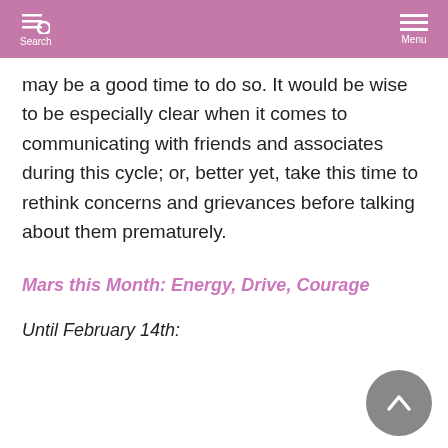Search  Menu
may be a good time to do so. It would be wise to be especially clear when it comes to communicating with friends and associates during this cycle; or, better yet, take this time to rethink concerns and grievances before talking about them prematurely.
Mars this Month: Energy, Drive, Courage
Until February 14th: